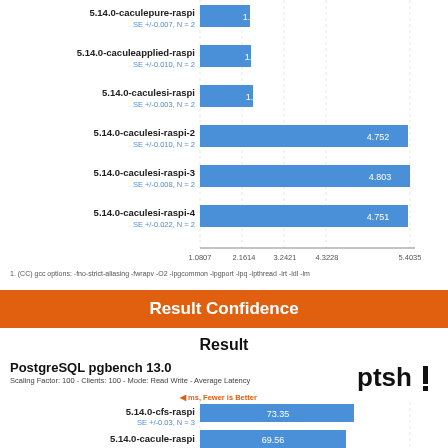[Figure (bar-chart): PostgreSQL pgbench (partial, top chart)]
1. (CC) gcc options: -fno-strict-aliasing -fwrapv -O2 -lpgcommon -lpgport -lpq -lpthread -lrt -ldl -lm
Result Confidence
Result
PostgreSQL pgbench 13.0
Scaling Factor: 100 - Clients: 100 - Mode: Read Write - Average Latency
[Figure (bar-chart): PostgreSQL pgbench 13.0 - bottom chart]